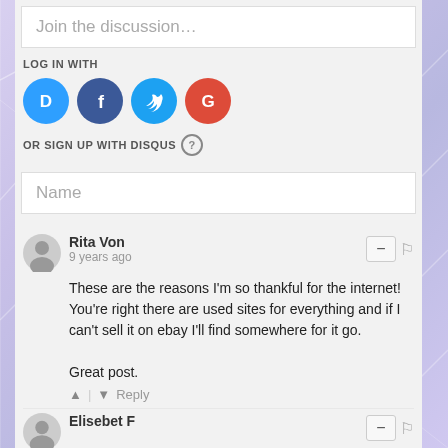Join the discussion…
LOG IN WITH
[Figure (logo): Four social login icons: Disqus (blue D), Facebook (dark blue f), Twitter (light blue bird), Google (red G)]
OR SIGN UP WITH DISQUS ?
Name
Rita Von
9 years ago
These are the reasons I'm so thankful for the internet! You're right there are used sites for everything and if I can't sell it on ebay I'll find somewhere for it go.

Great post.
▲ | ▼ Reply
Elisebet F